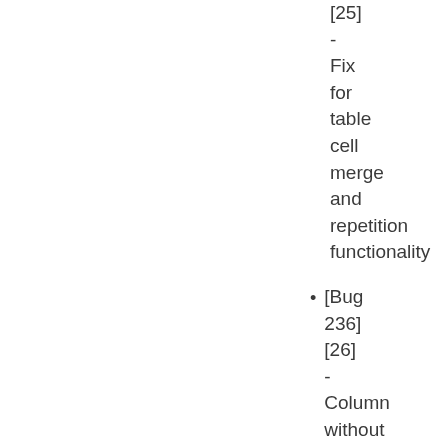[25] - Fix for table cell merge and repetition functionality
[Bug 236] [26] - Column without width, should not have empty width attributes when split